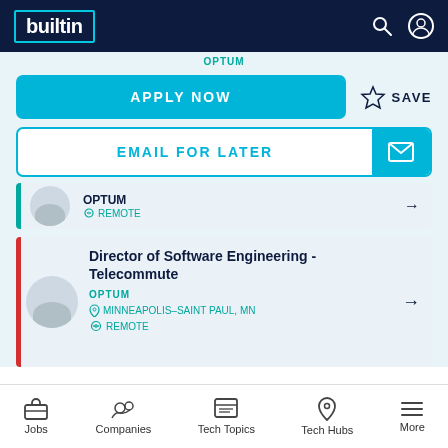builtin
APPLY NOW
SAVE
EMAIL FOR LATER
OPTUM | REMOTE
Director of Software Engineering - Telecommute
OPTUM
MINNEAPOLIS–SAINT PAUL, MN
REMOTE
Jobs | Companies | Tech Topics | Tech Hubs | More